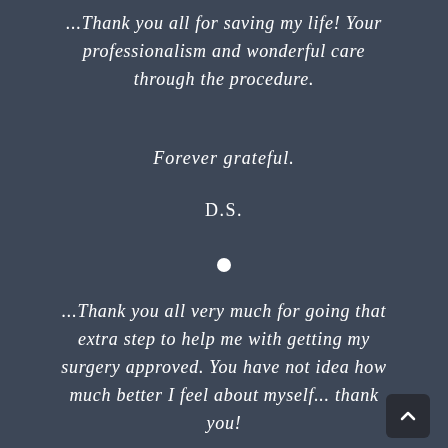...Thank you all for saving my life! Your professionalism and wonderful care through the procedure.
Forever grateful.
D.S.
...Thank you all very much for going that extra step to help me with getting my surgery approved. You have not idea how much better I feel about myself... thank you!